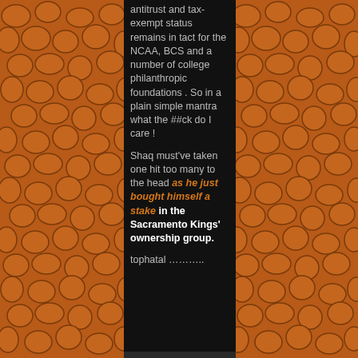antitrust and tax-exempt status remains in tact for the NCAA, BCS and a number of college philanthropic foundations . So in a plain simple mantra what the ##ck do I care !
Shaq must've taken one hit too many to the head as he just bought himself a stake in the Sacramento Kings' ownership group.
tophatal ……….